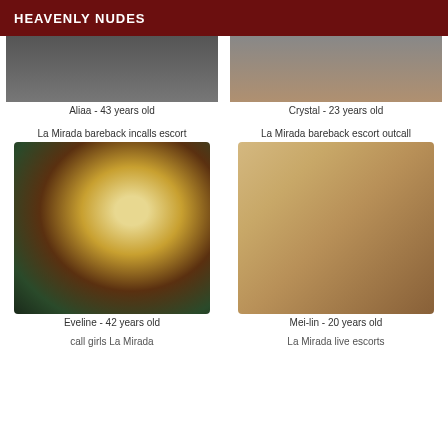HEAVENLY NUDES
Aliaa - 43 years old
Crystal - 23 years old
La Mirada bareback incalls escort
[Figure (illustration): Fantasy illustration of a female figure with angel wings and dark dragon wings]
Eveline - 42 years old
La Mirada bareback escort outcall
[Figure (photo): Photo of a woman reclining on a bed in a warm-toned room]
Mei-lin - 20 years old
call girls La Mirada
La Mirada live escorts